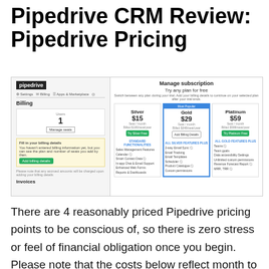Pipedrive CRM Review: Pipedrive Pricing
[Figure (screenshot): Screenshot of Pipedrive CRM subscription management page showing billing panel on the left with 1 user, and plan options on the right: Silver $15/seat/month, Gold $29/seat/month (Most Popular), and Platinum $59/seat/month, with feature lists for each plan.]
There are 4 reasonably priced Pipedrive pricing points to be conscious of, so there is zero stress or feel of financial obligation once you begin. Please note that the costs below reflect month to month payments.